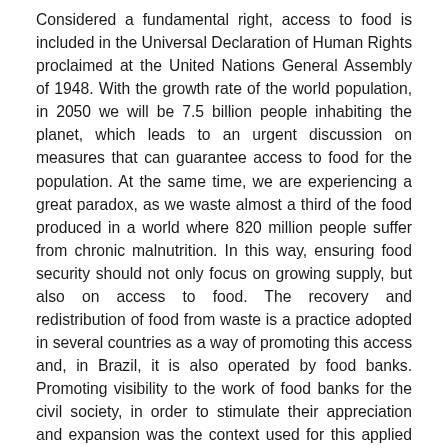Considered a fundamental right, access to food is included in the Universal Declaration of Human Rights proclaimed at the United Nations General Assembly of 1948. With the growth rate of the world population, in 2050 we will be 7.5 billion people inhabiting the planet, which leads to an urgent discussion on measures that can guarantee access to food for the population. At the same time, we are experiencing a great paradox, as we waste almost a third of the food produced in a world where 820 million people suffer from chronic malnutrition. In this way, ensuring food security should not only focus on growing supply, but also on access to food. The recovery and redistribution of food from waste is a practice adopted in several countries as a way of promoting this access and, in Brazil, it is also operated by food banks. Promoting visibility to the work of food banks for the civil society, in order to stimulate their appreciation and expansion was the context used for this applied work. Therefore, through the analysis of documentary content, the identification and systematization of a set of result and performance indicators for food redistribution systems via food banks was carried out, and then a selection of their applicability with the tracking of data carried out in four case studies